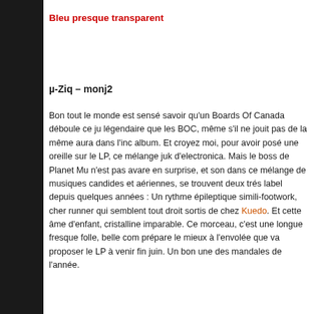Bleu presque transparent
µ-Ziq – monj2
Bon tout le monde est sensé savoir qu'un Boards Of Canada déboule ce ju légendaire que les BOC, même s'il ne jouit pas de la même aura dans l'inc album. Et croyez moi, pour avoir posé une oreille sur le LP, ce mélange juk d'electronica. Mais le boss de Planet Mu n'est pas avare en surprise, et son dans ce mélange de musiques candides et aériennes, se trouvent deux trés label depuis quelques années : Un rythme épileptique simili-footwork, cher runner qui semblent tout droit sortis de chez Kuedo. Et cette âme d'enfant, cristalline imparable. Ce morceau, c'est une longue fresque folle, belle com prépare le mieux à l'envolée que va proposer le LP à venir fin juin. Un bon une des mandales de l'année.